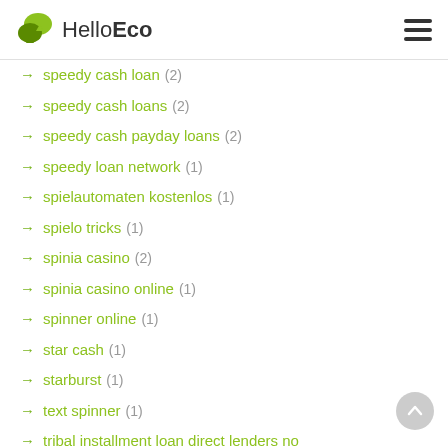HelloEco
speedy cash loan (2)
speedy cash loans (2)
speedy cash payday loans (2)
speedy loan network (1)
spielautomaten kostenlos (1)
spielo tricks (1)
spinia casino (2)
spinia casino online (1)
spinner online (1)
star cash (1)
starburst (1)
text spinner (1)
tribal installment loan direct lenders no credit check (1)